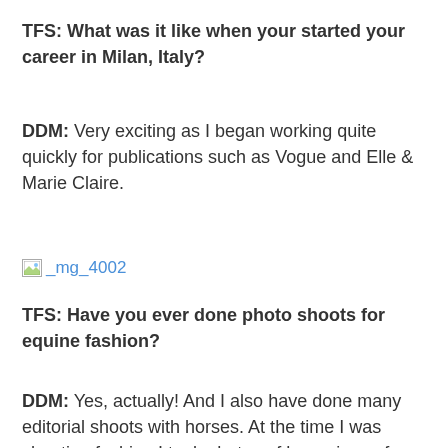TFS: What was it like when your started your career in Milan, Italy?
DDM: Very exciting as I began working quite quickly for publications such as Vogue and Elle & Marie Claire.
[Figure (other): Broken image placeholder with filename _mg_4002]
TFS: Have you ever done photo shoots for equine fashion?
DDM: Yes, actually! And I also have done many editorial shoots with horses. At the time I was shooting fashion I took photos of horse in my free time just to be near them.